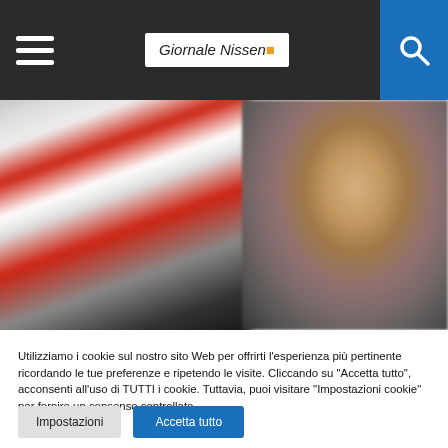Giornale Nissen
[Figure (photo): Split image: left side shows a blurry red and white barrier/tape with partial text 'RABID'; right side shows a close-up blurry photo of a middle-aged man's face with grey stubble, smiling slightly.]
Utilizziamo i cookie sul nostro sito Web per offrirti l'esperienza più pertinente ricordando le tue preferenze e ripetendo le visite. Cliccando su "Accetta tutto", acconsenti all'uso di TUTTI i cookie. Tuttavia, puoi visitare "Impostazioni cookie" per fornire un consenso controllato.
Impostazioni   Accetta tutto